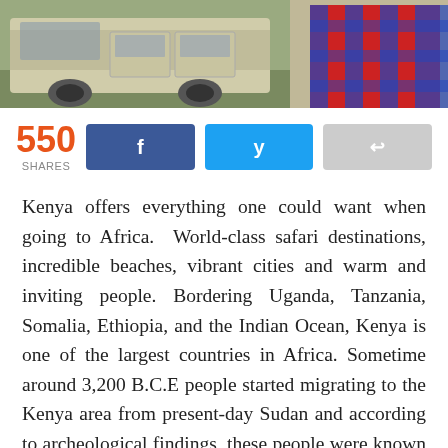[Figure (photo): Partial photo showing a vehicle and a person wearing a red and blue patterned garment, cropped at the top]
550 SHARES
Kenya offers everything one could want when going to Africa.  World-class safari destinations, incredible beaches, vibrant cities and warm and inviting people. Bordering Uganda, Tanzania, Somalia, Ethiopia, and the Indian Ocean, Kenya is one of the largest countries in Africa. Sometime around 3,200 B.C.E people started migrating to the Kenya area from present-day Sudan and according to archeological findings, these people were known as the Cushite's though further